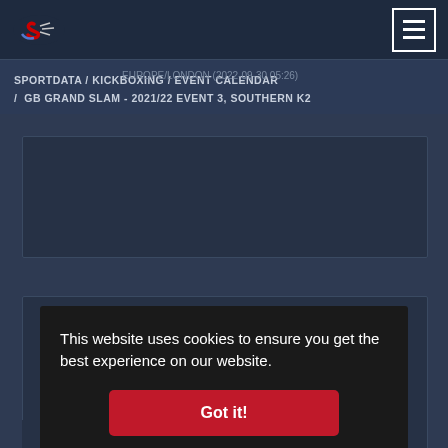Sportdata logo and navigation menu
SPORTDATA / KICKBOXING / EVENT CALENDAR / GB GRAND SLAM - 2021/22 EVENT 3, SOUTHERN K2
EUROPE/LONDON (2022-09-30 05:26)
[Figure (screenshot): Dark card placeholder area 1]
[Figure (screenshot): Dark card placeholder area 2 with cookie banner overlay]
This website uses cookies to ensure you get the best experience on our website.
Got it!
UNITED KINGDOM